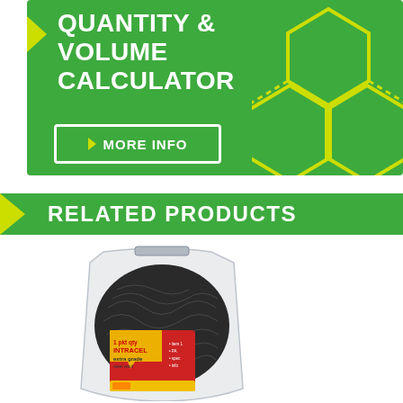[Figure (infographic): Green banner with yellow-green hexagon geometric decoration on the right, white bold text reading 'QUANTITY & VOLUME CALCULATOR', and a white-bordered button labeled 'MORE INFO' with a yellow-green arrow chevron.]
RELATED PRODUCTS
[Figure (photo): A clear plastic bag containing dark grey/black steel wool pads. The bag has a red and yellow product label on the front with text including 'INTRACEL' and 'extra grade' along with some specification bullet points.]